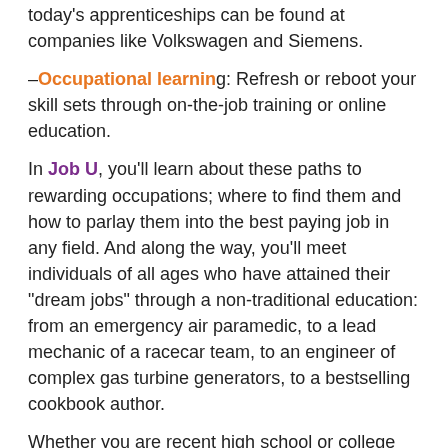today's apprenticeships can be found at companies like Volkswagen and Siemens.
–Occupational learning: Refresh or reboot your skill sets through on-the-job training or online education.
In Job U, you'll learn about these paths to rewarding occupations; where to find them and how to parlay them into the best paying job in any field. And along the way, you'll meet individuals of all ages who have attained their "dream jobs" through a non-traditional education: from an emergency air paramedic, to a lead mechanic of a racecar team, to an engineer of complex gas turbine generators, to a bestselling cookbook author.
Whether you are recent high school or college graduate, or well along in your career journey, Job U will help you find your way to a more secure and prosperous future.